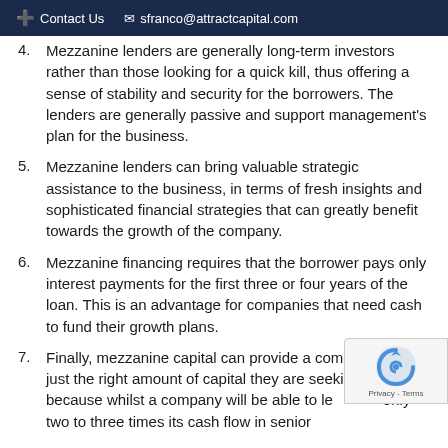Contact Us   sfranco@attractcapital.com
4. Mezzanine lenders are generally long-term investors rather than those looking for a quick kill, thus offering a sense of stability and security for the borrowers. The lenders are generally passive and support management's plan for the business.
5. Mezzanine lenders can bring valuable strategic assistance to the business, in terms of fresh insights and sophisticated financial strategies that can greatly benefit towards the growth of the company.
6. Mezzanine financing requires that the borrower pays only interest payments for the first three or four years of the loan. This is an advantage for companies that need cash to fund their growth plans.
7. Finally, mezzanine capital can provide a company with just the right amount of capital they are seeking. This is because whilst a company will be able to leverage only two to three times its cash flow in senior